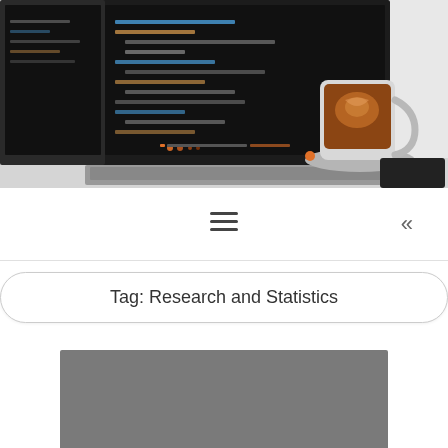[Figure (photo): Header photo showing a laptop with code on its dark screen and a coffee cup with latte art on a saucer, placed on a white desk. A dark phone/object is partially visible at the bottom right.]
[Figure (infographic): Navigation bar with a hamburger menu icon (three horizontal lines) centered, and double left-pointing chevron arrows on the right side.]
Tag: Research and Statistics
[Figure (photo): A gray placeholder image block below the tag title, representing a content thumbnail image.]